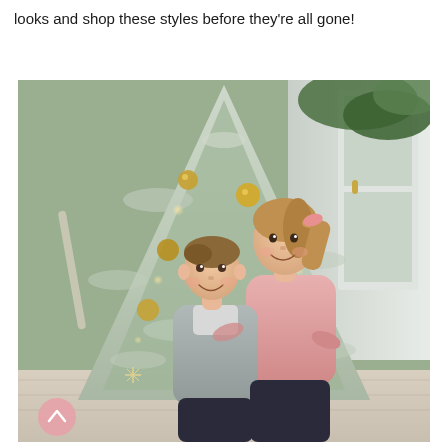looks and shop these styles before they're all gone!
[Figure (photo): Two young children hugging and smiling in front of a large flocked Christmas tree decorated with gold ornaments and warm lights. A boy wearing a grey vest and a girl wearing a pink fleece pullover. French doors and green garland visible in background, light wood floors.]